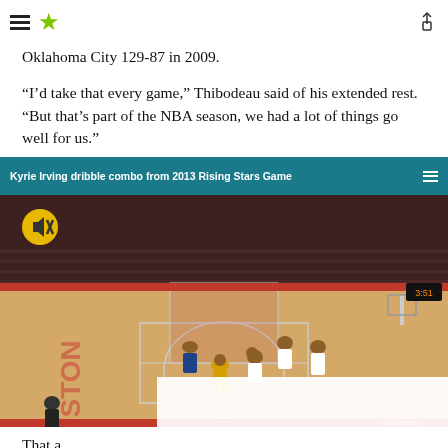☰ ★ [share icon]
Oklahoma City 129-87 in 2009.
“I’d take that every game,” Thibodeau said of his extended rest. “But that’s part of the NBA season, we had a lot of things go well for us.”
[Figure (screenshot): Video player showing Kyrie Irving dribble combo from 2013 Rising Stars Game. Header bar reads 'Kyrie Irving dribble combo from 2013 Rising Stars Game'. The video shows a basketball game in progress on a Houston court with players in various uniforms. A mute button (yellow circle with speaker icon) is visible top-left. Bottom overlay shows 'BBVA RISING STARS' scoreboard with SHAR 116, CHIC 141 and TNT logo.]
That a...